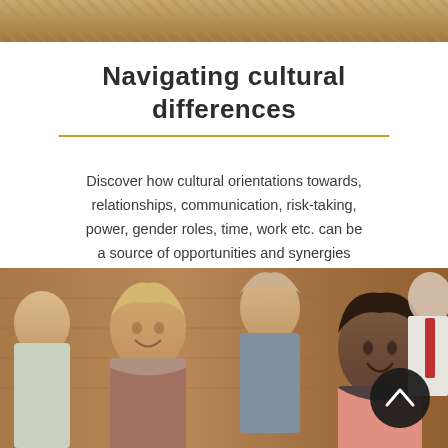[Figure (photo): Top partial image showing what appears to be paper/book textures with warm golden-brown tones]
Navigating cultural differences
Discover how cultural orientations towards, relationships, communication, risk-taking, power, gender roles, time, work etc. can be a source of opportunities and synergies rather than false assumptions, harsh judgements and serious misunderstandings.
[Figure (photo): Group of diverse people smiling and laughing together in what appears to be a workshop or meeting setting, with a dark circular scroll-up button overlay in the bottom right]